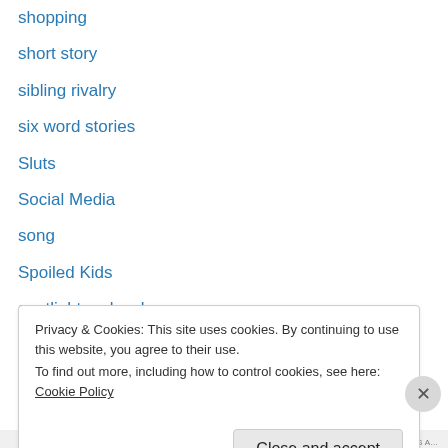shopping
short story
sibling rivalry
six word stories
Sluts
Social Media
song
Spoiled Kids
spotlight on local
stupidity
syllables
Tattoos
teachers
Privacy & Cookies: This site uses cookies. By continuing to use this website, you agree to their use.
To find out more, including how to control cookies, see here: Cookie Policy
Close and accept